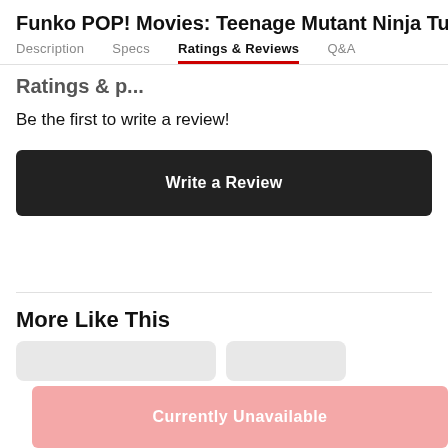Funko POP! Movies: Teenage Mutant Ninja Turtles Se
Description | Specs | Ratings & Reviews | Q&A
Ratings & ...
Be the first to write a review!
Write a Review
More Like This
Currently Unavailable